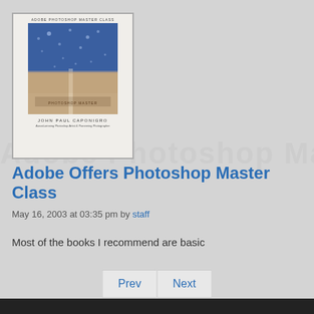[Figure (photo): Book cover of Adobe Photoshop Master Class by John Paul Caponigro. White border book cover showing blue sky with droplets on top half and sandy/earthy tones on bottom half. Text at top reads ADOBE PHOTOSHOP MASTER CLASS. Author name JOHN PAUL CAPONIGRO at bottom.]
Adobe Offers Photoshop Master Class
May 16, 2003 at 03:35 pm by staff
Most of the books I recommend are basic